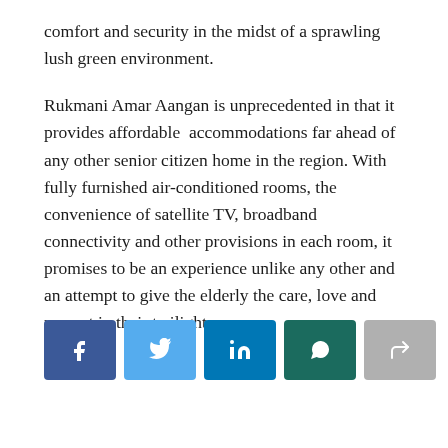comfort and security in the midst of a sprawling lush green environment.

Rukmani Amar Aangan is unprecedented in that it provides affordable accommodations far ahead of any other senior citizen home in the region. With fully furnished air-conditioned rooms, the convenience of satellite TV, broadband connectivity and other provisions in each room, it promises to be an experience unlike any other and an attempt to give the elderly the care, love and respect in their twilight years.
[Figure (infographic): Social media share buttons row: Facebook (dark blue), Twitter (light blue), LinkedIn (medium blue), WhatsApp (dark teal), Share/forward (grey)]